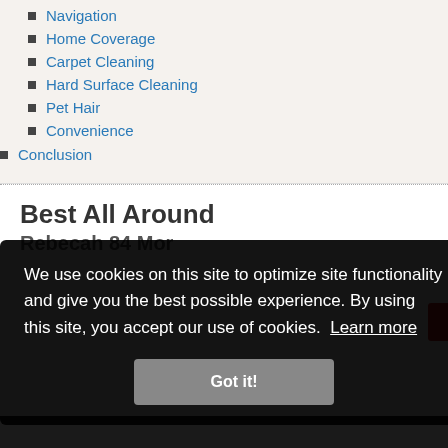Navigation
Home Coverage
Carpet Cleaning
Hard Surface Cleaning
Pet Hair
Convenience
Conclusion
Best All Around
Rebecah 84 Mor
We use cookies on this site to optimize site functionality and give you the best possible experience. By using this site, you accept our use of cookies. Learn more
Got it!